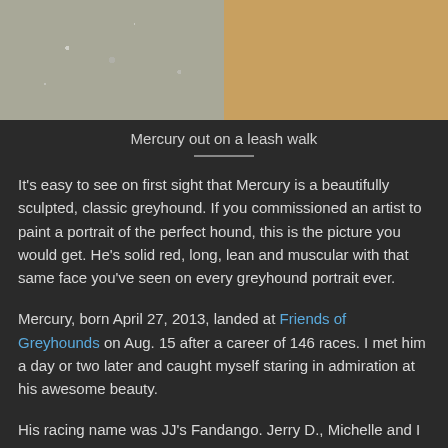[Figure (photo): Two-panel photo: left side shows gravel/sand texture in grayscale, right side shows a close-up of a dog's tan/golden fur. Caption: Mercury out on a leash walk.]
Mercury out on a leash walk
It's easy to see on first sight that Mercury is a beautifully sculpted, classic greyhound. If you commissioned an artist to paint a portrait of the perfect hound, this is the picture you would get. He's solid red, long, lean and muscular with that same face you've seen on every greyhound portrait ever.
Mercury, born April 27, 2013, landed at Friends of Greyhounds on Aug. 15 after a career of 146 races. I met him a day or two later and caught myself staring in admiration at his awesome beauty.
His racing name was JJ's Fandango. Jerry D., Michelle and I were tossing ideas for new names for him and Oshkosh Fella, who arrived at the same time. Fella was easy. But we thought